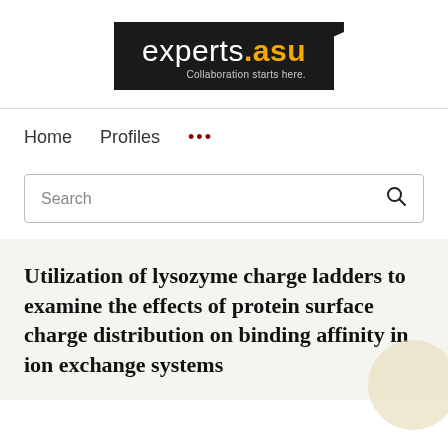[Figure (logo): experts.asu logo — black rectangle with white text 'experts' and gold '.asu', tagline 'Collaboration starts here.']
Home   Profiles   ...
Search
Utilization of lysozyme charge ladders to examine the effects of protein surface charge distribution on binding affinity in ion exchange systems